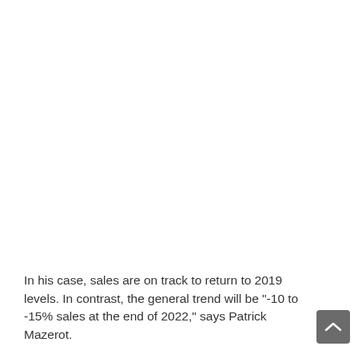In his case, sales are on track to return to 2019 levels. In contrast, the general trend will be "-10 to -15% sales at the end of 2022," says Patrick Mazerot.